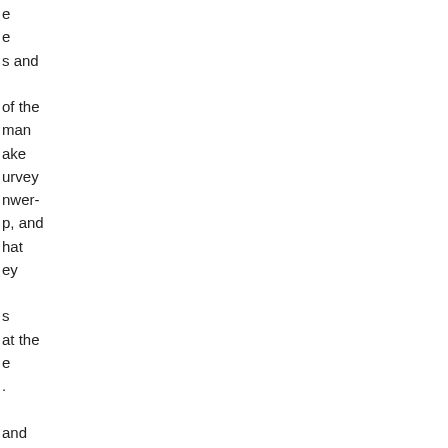e
e
s and

of the
man
ake
urvey
nwer-
p, and
hat
ey

s
at the
e
.

and
ly as
s
oo;
s they
if